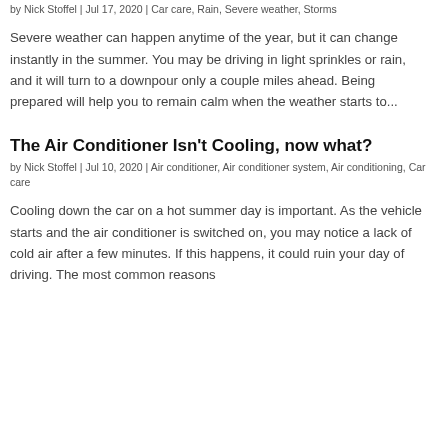by Nick Stoffel | Jul 17, 2020 | Car care, Rain, Severe weather, Storms
Severe weather can happen anytime of the year, but it can change instantly in the summer. You may be driving in light sprinkles or rain, and it will turn to a downpour only a couple miles ahead. Being prepared will help you to remain calm when the weather starts to...
The Air Conditioner Isn't Cooling, now what?
by Nick Stoffel | Jul 10, 2020 | Air conditioner, Air conditioner system, Air conditioning, Car care
Cooling down the car on a hot summer day is important. As the vehicle starts and the air conditioner is switched on, you may notice a lack of cold air after a few minutes. If this happens, it could ruin your day of driving. The most common reasons